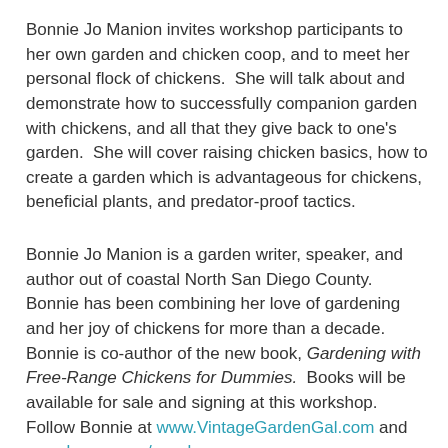Bonnie Jo Manion invites workshop participants to her own garden and chicken coop, and to meet her personal flock of chickens.  She will talk about and demonstrate how to successfully companion garden with chickens, and all that they give back to one's garden.  She will cover raising chicken basics, how to create a garden which is advantageous for chickens, beneficial plants, and predator-proof tactics.
Bonnie Jo Manion is a garden writer, speaker, and author out of coastal North San Diego County.  Bonnie has been combining her love of gardening and her joy of chickens for more than a decade.  Bonnie is co-author of the new book, Gardening with Free-Range Chickens for Dummies.  Books will be available for sale and signing at this workshop. Follow Bonnie at www.VintageGardenGal.com and www.lowes.com/socal.